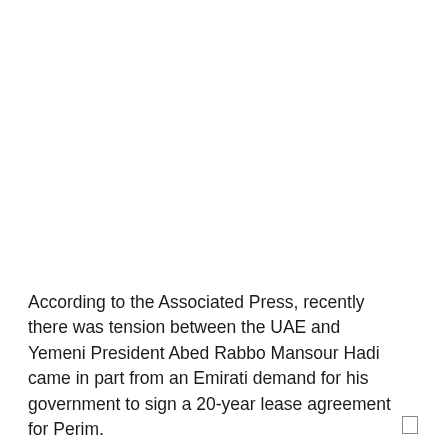According to the Associated Press, recently there was tension between the UAE and Yemeni President Abed Rabbo Mansour Hadi came in part from an Emirati demand for his government to sign a 20-year lease agreement for Perim.